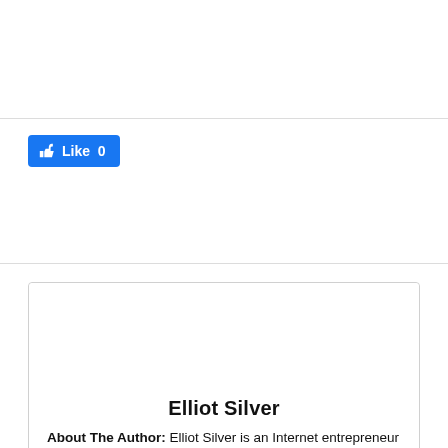[Figure (other): Empty white top section above a horizontal divider line]
[Figure (other): Facebook Like button showing thumbs up icon and Like 0 text on blue background]
[Figure (other): Empty white section between two dividers]
Elliot Silver
About The Author: Elliot Silver is an Internet entrepreneur and